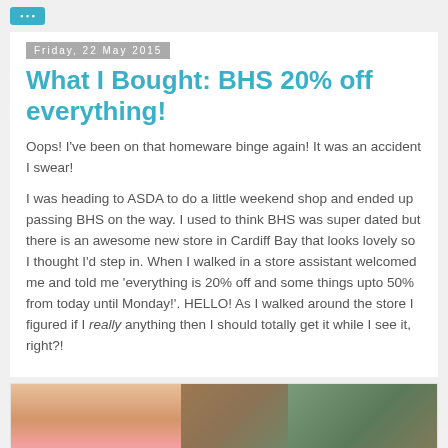Friday, 22 May 2015
What I Bought: BHS 20% off everything!
Oops! I've been on that homeware binge again! It was an accident I swear!
I was heading to ASDA to do a little weekend shop and ended up passing BHS on the way. I used to think BHS was super dated but there is an awesome new store in Cardiff Bay that looks lovely so I thought I'd step in. When I walked in a store assistant welcomed me and told me 'everything is 20% off and some things upto 50% from today until Monday!'. HELLO! As I walked around the store I figured if I really anything then I should totally get it while I see it, right?!
[Figure (photo): Photo of items purchased from BHS, showing homeware products on a surface]